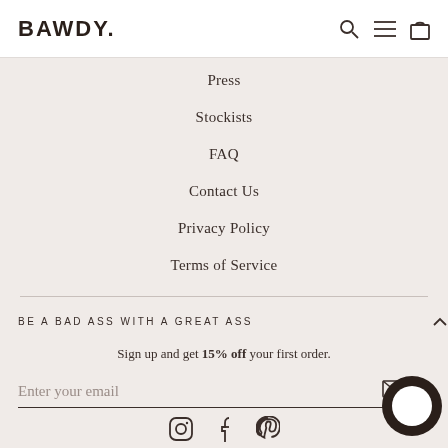BAWDY.
Press
Stockists
FAQ
Contact Us
Privacy Policy
Terms of Service
BE A BAD ASS WITH A GREAT ASS
Sign up and get 15% off your first order.
Enter your email